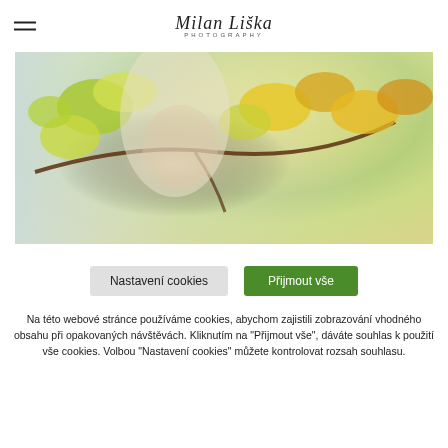Milan Liška Photography
[Figure (photo): Blonde woman smiling, looking at yellow autumn leaves on a branch, outdoor nature setting]
Nastavení cookies   Přijmout vše
Na této webové stránce používáme cookies, abychom zajistili zobrazování vhodného obsahu při opakovaných návštěvách. Kliknutím na "Přijmout vše", dáváte souhlas k použití vše cookies. Volbou "Nastavení cookies" můžete kontrolovat rozsah souhlasu.